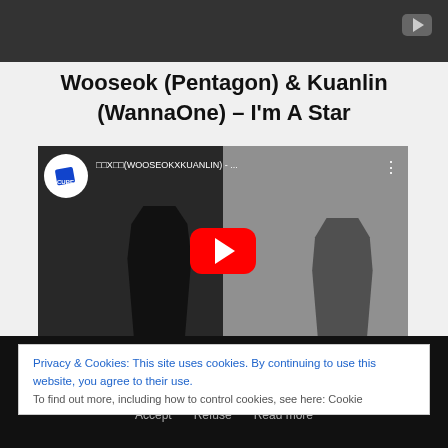[Figure (screenshot): Dark gray video bar at top with small YouTube-style play icon in top right corner]
Wooseok (Pentagon) & Kuanlin (WannaOne) – I'm A Star
[Figure (screenshot): YouTube embedded video thumbnail showing two men in black and white, with CUBE logo, Korean/English title text, three dots menu, and large red YouTube play button in center]
Privacy & Cookies: This site uses cookies. By continuing to use this website, you agree to their use.
To find out more, including how to control cookies, see here: Cookie
We use cookies to ensure you get the best experience on our site. If you continue to use the site, we agree that you are satisfied.
Accept   Refuse   Read more